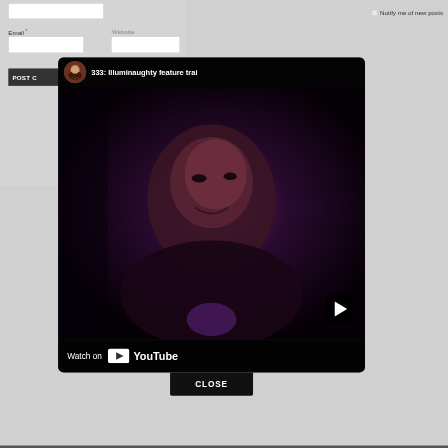Notify me of new posts
Email *
Website
POST C
[Figure (screenshot): YouTube video embed popup showing a dark video thumbnail of a woman's face with purple/dark lighting. Video title reads '333: Illuminaughty feature trai'. Has a circular avatar image in top-left, play button on right side, and 'Watch on YouTube' bar at bottom. Below the video is a black CLOSE button.]